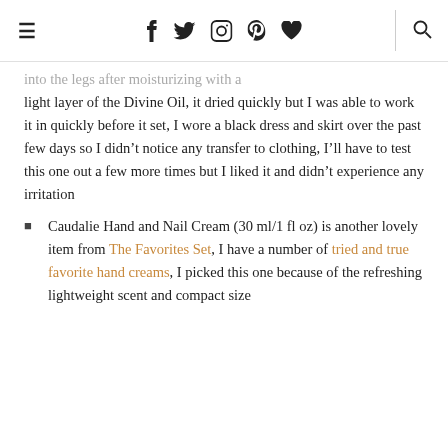≡  f  twitter  instagram  pinterest  ♥  |  search
into the legs after moisturizing with a light layer of the Divine Oil, it dried quickly but I was able to work it in quickly before it set, I wore a black dress and skirt over the past few days so I didn't notice any transfer to clothing, I'll have to test this one out a few more times but I liked it and didn't experience any irritation
Caudalie Hand and Nail Cream (30 ml/1 fl oz) is another lovely item from The Favorites Set, I have a number of tried and true favorite hand creams, I picked this one because of the refreshing lightweight scent and compact size